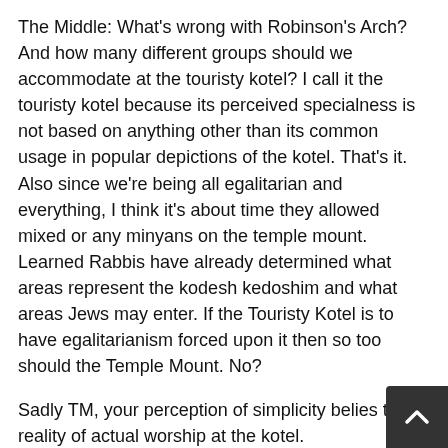The Middle: What's wrong with Robinson's Arch? And how many different groups should we accommodate at the touristy kotel? I call it the touristy kotel because its perceived specialness is not based on anything other than its common usage in popular depictions of the kotel. That's it. Also since we're being all egalitarian and everything, I think it's about time they allowed mixed or any minyans on the temple mount. Learned Rabbis have already determined what areas represent the kodesh kedoshim and what areas Jews may enter. If the Touristy Kotel is to have egalitarianism forced upon it then so too should the Temple Mount. No?
Sadly TM, your perception of simplicity belies the reality of actual worship at the kotel.
What's really interesting is that the area of the wall closest to the entrance to the actual temple is underground and part of the tunnel tour by the touristy kotel. I've seen men and women engaged in meditative prayer there often. Just a thought.